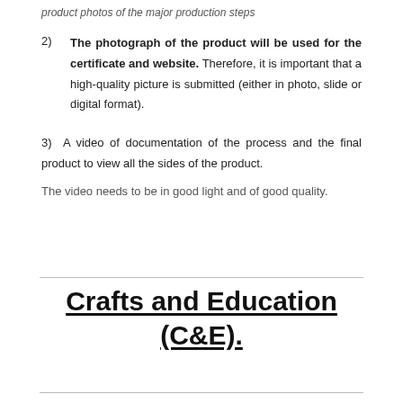product photos of the major production steps
2)  The photograph of the product will be used for the certificate and website. Therefore, it is important that a high-quality picture is submitted (either in photo, slide or digital format).
3)  A video of documentation of the process and the final product to view all the sides of the product.
The video needs to be in good light and of good quality.
Crafts and Education (C&E).